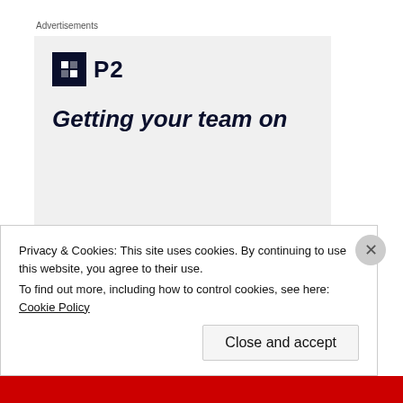Advertisements
[Figure (other): Advertisement banner showing P2 logo and text 'Getting your team on']
I’ve been catching public transport ever since.
Still, I wasn’t injured, and I’ve found a new car which
Privacy & Cookies: This site uses cookies. By continuing to use this website, you agree to their use.
To find out more, including how to control cookies, see here: Cookie Policy
Close and accept